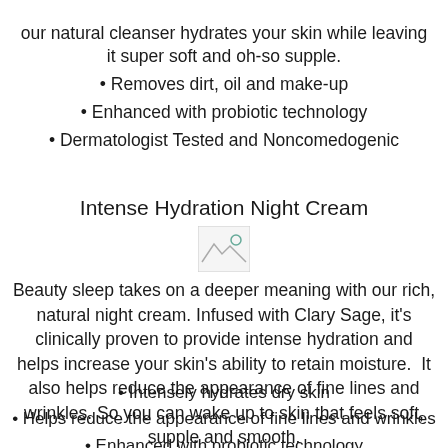our natural cleanser hydrates your skin while leaving it super soft and oh-so supple.
Removes dirt, oil and make-up
Enhanced with probiotic technology
Dermatologist Tested and Noncomedogenic
Intense Hydration Night Cream
[Figure (photo): Broken image placeholder for Intense Hydration Night Cream product photo]
Beauty sleep takes on a deeper meaning with our rich, natural night cream. Infused with Clary Sage, it's clinically proven to provide intense hydration and helps increase your skin's ability to retain moisture.  It also helps reduce the appearance of fine lines and wrinkles. So you can wake up to skin that feels soft, supple and smooth.
Intensely hydrates dry skin
Helps reduce the appearance of fine lines and wrinkles
Enhanced with probiotic technology
Dermatologist Tested and Noncomedogenic